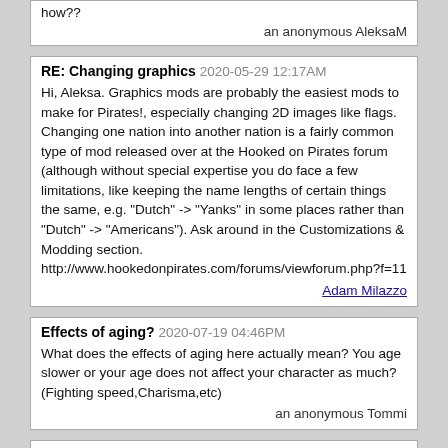how??
an anonymous AleksaM
RE: Changing graphics 2020-05-29 12:17AM
Hi, Aleksa. Graphics mods are probably the easiest mods to make for Pirates!, especially changing 2D images like flags. Changing one nation into another nation is a fairly common type of mod released over at the Hooked on Pirates forum (although without special expertise you do face a few limitations, like keeping the name lengths of certain things the same, e.g. "Dutch" -> "Yanks" in some places rather than "Dutch" -> "Americans"). Ask around in the Customizations & Modding section. http://www.hookedonpirates.com/forums/viewforum.php?f=11
Adam Milazzo
Effects of aging? 2020-07-19 04:46PM
What does the effects of aging here actually mean? You age slower or your age does not affect your character as much? (Fighting speed,Charisma,etc)
an anonymous Tommi
RE: Effects of aging? 2020-07-20 11:42PM
Hi, Tommi. It means you age more slowly.
Adam Milazzo
RE: Effects of aging 2020-07-29 02:35PM